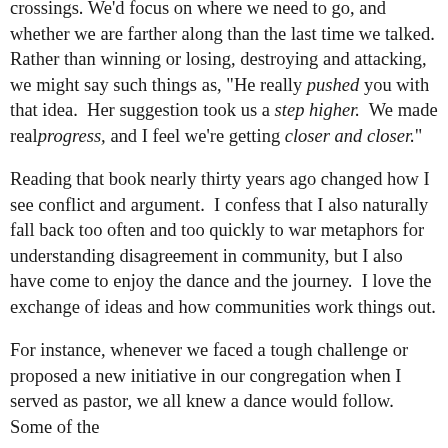crossings. We'd focus on where we need to go, and whether we are farther along than the last time we talked. Rather than winning or losing, destroying and attacking, we might say such things as, "He really pushed you with that idea.  Her suggestion took us a step higher.  We made real progress, and I feel we're getting closer and closer."
Reading that book nearly thirty years ago changed how I see conflict and argument.  I confess that I also naturally fall back too often and too quickly to war metaphors for understanding disagreement in community, but I also have come to enjoy the dance and the journey.  I love the exchange of ideas and how communities work things out.
For instance, whenever we faced a tough challenge or proposed a new initiative in our congregation when I served as pastor, we all knew a dance would follow. Some of the